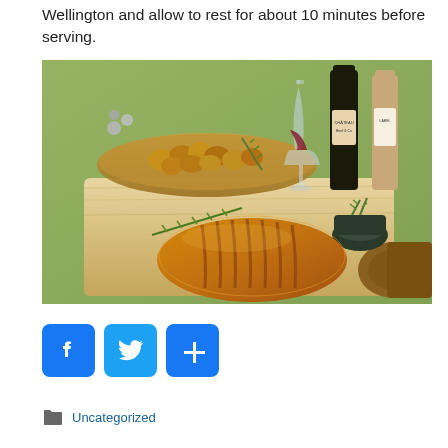Wellington and allow to rest for about 10 minutes before serving.
[Figure (photo): Beef Wellington in golden pastry crust on a wooden cutting board, surrounded by roasted potatoes on a wooden platter, rosemary sprigs, a dark mortar with herbs, wine glasses, and wine bottles against a green fabric background.]
[Figure (infographic): Social media sharing buttons: Facebook (blue with f icon), Twitter (blue with bird icon), and a blue plus/share button.]
Uncategorized